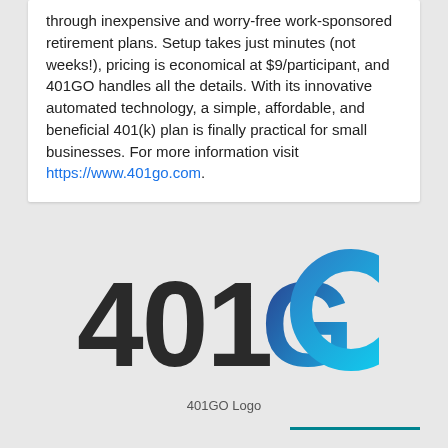through inexpensive and worry-free work-sponsored retirement plans. Setup takes just minutes (not weeks!), pricing is economical at $9/participant, and 401GO handles all the details. With its innovative automated technology, a simple, affordable, and beneficial 401(k) plan is finally practical for small businesses. For more information visit https://www.401go.com.
[Figure (logo): 401GO logo with large bold dark numerals '401' followed by 'GO' in gradient blue, on a white background.]
401GO Logo
"We're excited to welcome Saad and Ryan to the 401GO team. We count ourselves extremely lucky to be able to leverage the